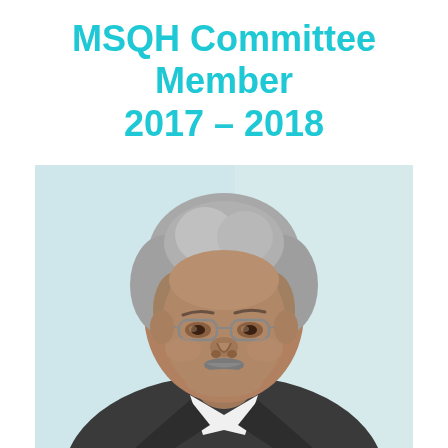MSQH Committee Member 2017 – 2018
[Figure (photo): Professional headshot portrait of an elderly Southeast Asian man with grey hair, glasses, and a white shirt with dark suit jacket, smiling slightly, photographed against a light blue/white background.]